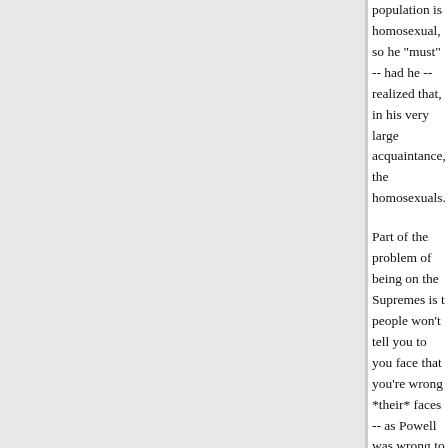population is homosexual, so he 'must' -- had he -- realized that, in his very large acquaintance, the homosexuals.
Part of the problem of being on the Supremes is t people won't tell you to you face that you're wrong *their* faces -- as Powell was wrong to Chinnis.
Now personally, I think Chinnis failed, here. There people's lives when they have the chance to be tr and make a difference -- but he had one, and he s
Posted by: Doctor Science | May 10, 2009 at 12:52 AM
this is quite an interesting thread to me. and i did perhaps like the security council in the UN, the su expanded so that it could indeed include more of the nation; it just seems unsatisfactory to me that country so few women and the now many minoriti these) have been so under-represented at all leve judicial power, but especially at the judicial level. a even perhaps be a permanent seat on the supren american representative as well.
why the composure of the court has stayed so co